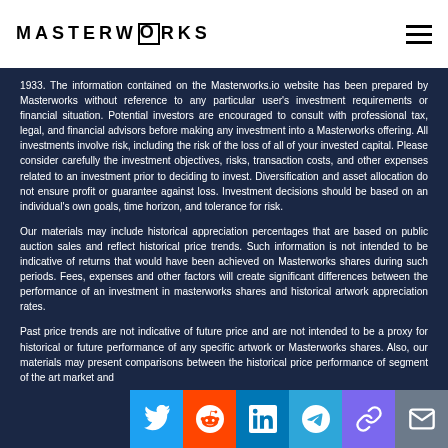MASTERWORKS
1933. The information contained on the Masterworks.io website has been prepared by Masterworks without reference to any particular user's investment requirements or financial situation. Potential investors are encouraged to consult with professional tax, legal, and financial advisors before making any investment into a Masterworks offering. All investments involve risk, including the risk of the loss of all of your invested capital. Please consider carefully the investment objectives, risks, transaction costs, and other expenses related to an investment prior to deciding to invest. Diversification and asset allocation do not ensure profit or guarantee against loss. Investment decisions should be based on an individual's own goals, time horizon, and tolerance for risk.
Our materials may include historical appreciation percentages that are based on public auction sales and reflect historical price trends. Such information is not intended to be indicative of returns that would have been achieved on Masterworks shares during such periods. Fees, expenses and other factors will create significant differences between the performance of an investment in masterworks shares and historical artwork appreciation rates.
Past price trends are not indicative of future price and are not intended to be a proxy for historical or future performance of any specific artwork or Masterworks shares. Also, our materials may present comparisons between the historical price performance of segment of the art market and